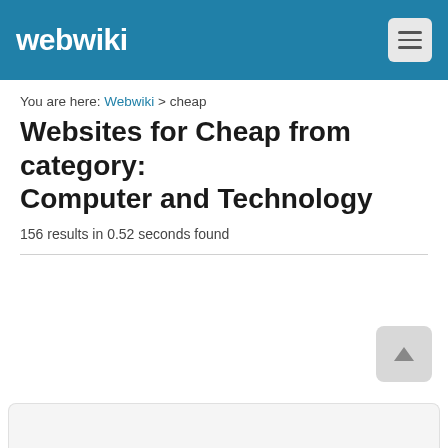webwiki
You are here: Webwiki > cheap
Websites for Cheap from category: Computer and Technology
156 results in 0.52 seconds found